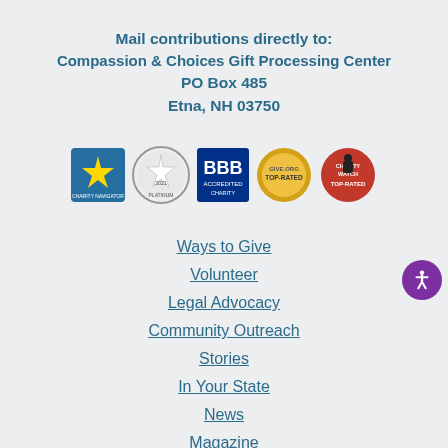Mail contributions directly to:
Compassion & Choices Gift Processing Center
PO Box 485
Etna, NH 03750
[Figure (logo): Five charity/accreditation logos: Charity Navigator, Candid Platinum Transparency 2021, BBB Accredited Charity, Give.org Top-Rated, Charity Watch Top-Rated]
Ways to Give
Volunteer
Legal Advocacy
Community Outreach
Stories
In Your State
News
Magazine
Jobs